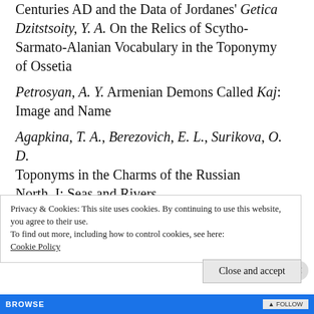Centuries AD and the Data of Jordanes' Getica Dzitstsoity, Y. A. On the Relics of Scytho-Sarmato-Alanian Vocabulary in the Toponymy of Ossetia
Petrosyan, A. Y. Armenian Demons Called Kaj: Image and Name
Agapkina, T. A., Berezovich, E. L., Surikova, O. D. Toponyms in the Charms of the Russian North. I: Seas and Rivers
Toporkov, A. L. Proper Names in the 17th Century Olonets Codex of Verbal Charms
Privacy & Cookies: This site uses cookies. By continuing to use this website, you agree to their use.
To find out more, including how to control cookies, see here: Cookie Policy